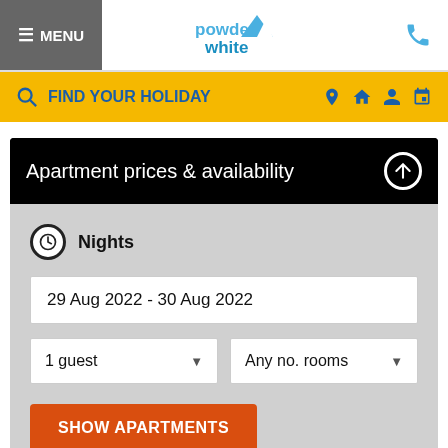≡ MENU | powder white | phone icon
FIND YOUR HOLIDAY
Apartment prices & availability
Nights
29 Aug 2022 - 30 Aug 2022
1 guest
Any no. rooms
SHOW APARTMENTS
ENQUIRE
SELECT DATES